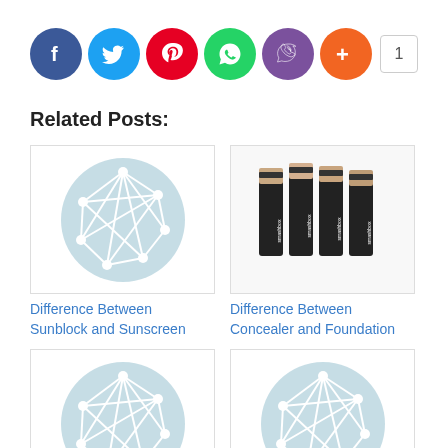[Figure (infographic): Row of social media share buttons: Facebook (blue), Twitter (light blue), Pinterest (red), WhatsApp (green), Viber (purple), More/Plus (orange), and a count badge showing 1]
Related Posts:
[Figure (illustration): Thumbnail image with light blue circle containing a white geometric network/mesh polygon icon]
Difference Between Sunblock and Sunscreen
[Figure (photo): Thumbnail image showing four Smashbox concealer sticks standing upright with beige/nude tips]
Difference Between Concealer and Foundation
[Figure (illustration): Thumbnail image with light blue circle containing a white geometric network/mesh polygon icon]
Difference Between
[Figure (illustration): Thumbnail image with light blue circle containing a white geometric network/mesh polygon icon]
Difference Between